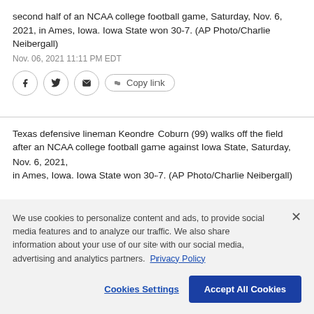second half of an NCAA college football game, Saturday, Nov. 6, 2021, in Ames, Iowa. Iowa State won 30-7. (AP Photo/Charlie Neibergall)
Nov. 06, 2021 11:11 PM EDT
[Figure (other): Social share buttons: Facebook, Twitter, Email, and Copy link button]
Texas defensive lineman Keondre Coburn (99) walks off the field after an NCAA college football game against Iowa State, Saturday, Nov. 6, 2021, in Ames, Iowa. Iowa State won 30-7. (AP Photo/Charlie Neibergall)
We use cookies to personalize content and ads, to provide social media features and to analyze our traffic. We also share information about your use of our site with our social media, advertising and analytics partners. Privacy Policy
Cookies Settings | Accept All Cookies